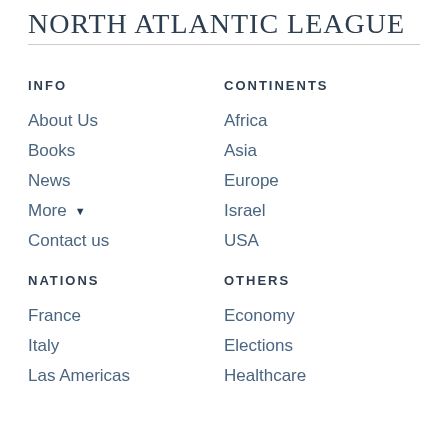NORTH ATLANTIC LEAGUE
INFO
About Us
Books
News
More ▾
Contact us
CONTINENTS
Africa
Asia
Europe
Israel
USA
NATIONS
France
Italy
Las Americas
OTHERS
Economy
Elections
Healthcare